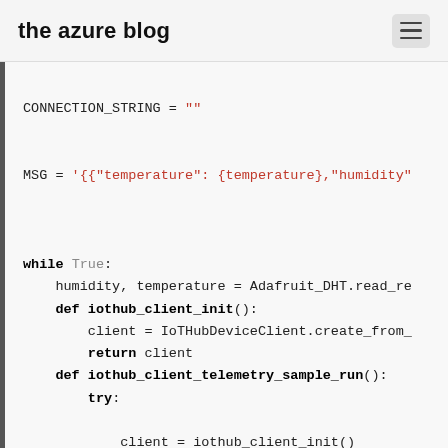the azure blog
CODE BLOCK: Python IoT Hub code snippet showing CONNECTION_STRING, MSG, while loop with humidity/temperature reading, iothub_client_init, iothub_client_telemetry_sample_run functions